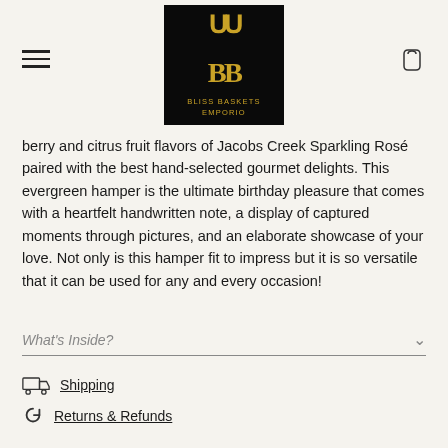[Figure (logo): Bliss Baskets Emporio logo — black square with gold BB monogram and gold text 'BLISS BASKETS EMPORIO']
berry and citrus fruit flavors of Jacobs Creek Sparkling Rosé paired with the best hand-selected gourmet delights. This evergreen hamper is the ultimate birthday pleasure that comes with a heartfelt handwritten note, a display of captured moments through pictures, and an elaborate showcase of your love. Not only is this hamper fit to impress but it is so versatile that it can be used for any and every occasion!
What's Inside?
Shipping
Returns & Refunds